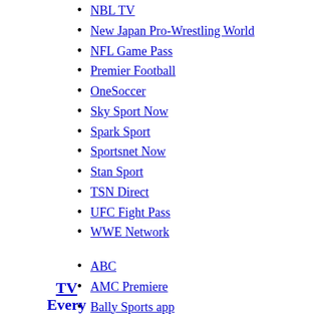NBL TV
New Japan Pro-Wrestling World
NFL Game Pass
Premier Football
OneSoccer
Sky Sport Now
Spark Sport
Sportsnet Now
Stan Sport
TSN Direct
UFC Fight Pass
WWE Network
ABC
AMC Premiere
Bally Sports app
CBS
Cinemax On Demand
CNNgo
DisneyNow
FOXNOW
Foxtel Go
Freeform
FXNOW
Canais Globo
TV Everywhere